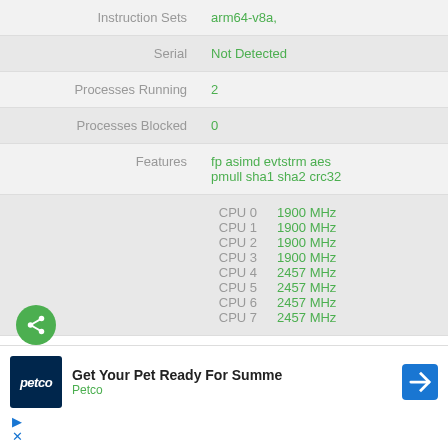| Label | Value |
| --- | --- |
| Instruction Sets | arm64-v8a, |
| Serial | Not Detected |
| Processes Running | 2 |
| Processes Blocked | 0 |
| Features | fp asimd evtstrm aes pmull sha1 sha2 crc32 |
| CPU 0 | 1900 MHz |
| CPU 1 | 1900 MHz |
| CPU 2 | 1900 MHz |
| CPU 3 | 1900 MHz |
| CPU 4 | 2457 MHz |
| CPU 5 | 2457 MHz |
| CPU 6 | 2457 MHz |
| CPU 7 | 2457 MHz |
[Figure (other): Green circular share button with share icon]
Get Your Pet Ready For Summe
Petco
[Figure (logo): Petco logo — dark navy square with italic petco text in white]
[Figure (other): Blue diamond-shaped navigation arrow icon]
play and close ad controls